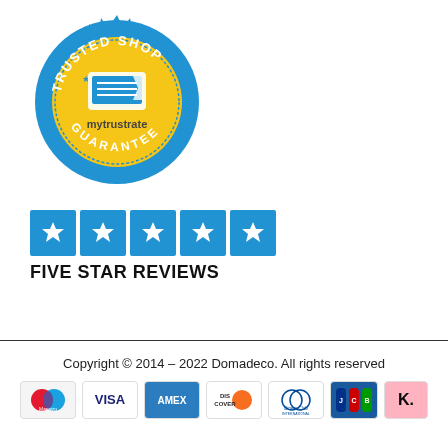[Figure (logo): Trusted Shop Guarantee badge - circular blue seal with gold inner circle, 5 stars, and mytrustrate logo in center, text reads TRUSTED SHOP GUARANTEE]
[Figure (infographic): Five blue star rating boxes with white stars inside]
FIVE STAR REVIEWS
Copyright © 2014 – 2022 Domadeco. All rights reserved
[Figure (infographic): Payment method logos: Maestro, Visa, AMEX, Discover, Diners Club International, JCB, Klarna]